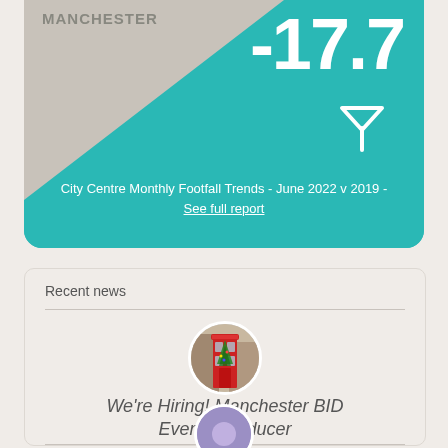[Figure (infographic): Teal card showing MANCHESTER label, large -17.7 number with down arrow, and footfall trend caption]
City Centre Monthly Footfall Trends - June 2022 v 2019 - See full report
Recent news
[Figure (photo): Circular thumbnail of a red British telephone box decorated with a Christmas tree]
We're Hiring! Manchester BID Events Producer